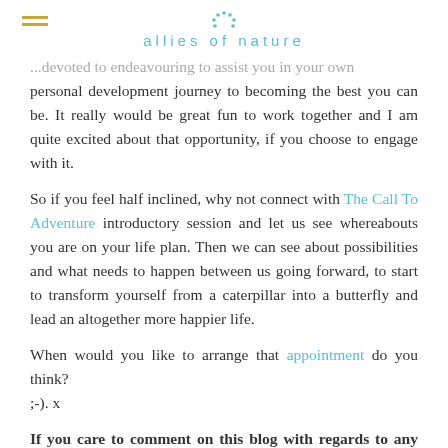allies of nature
...devoted to endeavouring to assist you in your own personal development journey to becoming the best you can be. It really would be great fun to work together and I am quite excited about that opportunity, if you choose to engage with it.
So if you feel half inclined, why not connect with The Call To Adventure introductory session and let us see whereabouts you are on your life plan. Then we can see about possibilities and what needs to happen between us going forward, to start to transform yourself from a caterpillar into a butterfly and lead an altogether more happier life.
When would you like to arrange that appointment do you think? ;-). x
If you care to comment on this blog with regards to any issues or feelings it brings up for you please feel free to do so below.